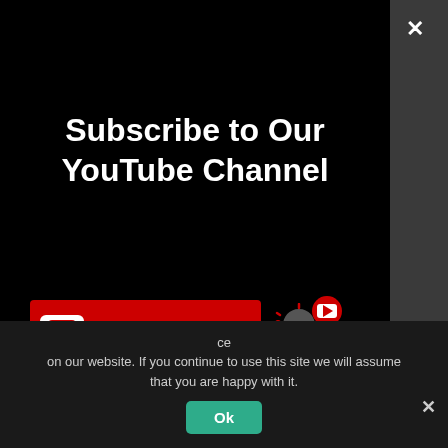[Figure (screenshot): YouTube subscribe popup modal with black background showing 'Subscribe to Our YouTube Channel' title, a red SUBSCRIBE button with YouTube play icon, a bell notification icon with red YouTube logo badge, a mouse cursor pointing at the button, and a cookie consent bar at the bottom with 'Ok' button.]
Subscribe to Our YouTube Channel
on our website. If you continue to use this site we will assume that you are happy with it.
Ok